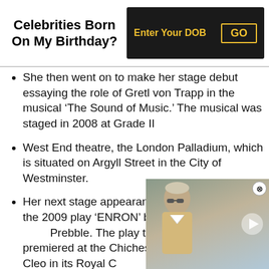Celebrities Born On My Birthday?
She then went on to make her stage debut essaying the role of Gretl von Trapp in the musical ‘The Sound of Music.’ The musical was staged in 2008 at Grade II
West End theatre, the London Palladium, which is situated on Argyll Street in the City of Westminster.
Her next stage appearance was as Daughter in the 2009 play ‘ENRON’ by British playwright Lucy Prebble. The play that is ba… premiered at the Chicheste… featured Cleo in its Royal C…
[Figure (screenshot): Video overlay thumbnail showing a man wearing sunglasses with a play button, partially obscuring the third list item]